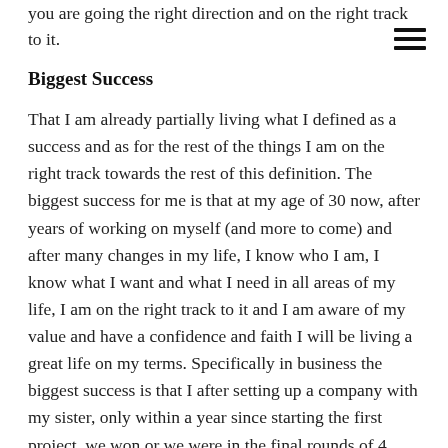you are going the right direction and on the right track to it.
Biggest Success
That I am already partially living what I defined as a success and as for the rest of the things I am on the right track towards the rest of this definition. The biggest success for me is that at my age of 30 now, after years of working on myself (and more to come) and after many changes in my life, I know who I am, I know what I want and what I need in all areas of my life, I am on the right track to it and I am aware of my value and have a confidence and faith I will be living a great life on my terms. Specifically in business the biggest success is that I after setting up a company with my sister, only within a year since starting the first project, we won or we were in the final rounds of 4 national entrepreneur competitions.